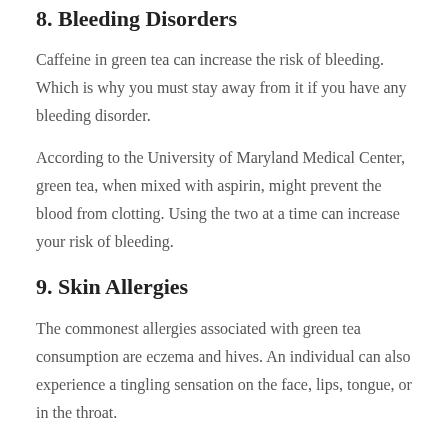8. Bleeding Disorders
Caffeine in green tea can increase the risk of bleeding. Which is why you must stay away from it if you have any bleeding disorder.
According to the University of Maryland Medical Center, green tea, when mixed with aspirin, might prevent the blood from clotting. Using the two at a time can increase your risk of bleeding.
9. Skin Allergies
The commonest allergies associated with green tea consumption are eczema and hives. An individual can also experience a tingling sensation on the face, lips, tongue, or in the throat.